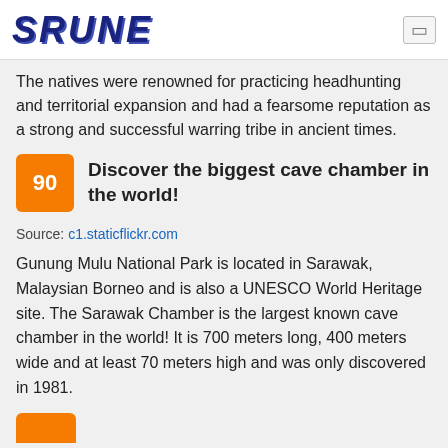SRUNE
The natives were renowned for practicing headhunting and territorial expansion and had a fearsome reputation as a strong and successful warring tribe in ancient times.
90 Discover the biggest cave chamber in the world!
Source: c1.staticflickr.com
Gunung Mulu National Park is located in Sarawak, Malaysian Borneo and is also a UNESCO World Heritage site. The Sarawak Chamber is the largest known cave chamber in the world! It is 700 meters long, 400 meters wide and at least 70 meters high and was only discovered in 1981.